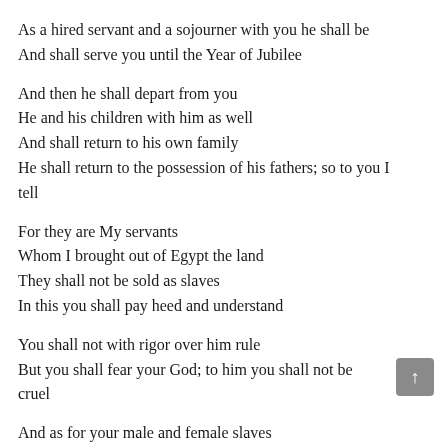As a hired servant and a sojourner with you he shall be
And shall serve you until the Year of Jubilee
And then he shall depart from you
He and his children with him as well
And shall return to his own family
He shall return to the possession of his fathers; so to you I tell
For they are My servants
Whom I brought out of Egypt the land
They shall not be sold as slaves
In this you shall pay heed and understand
You shall not with rigor over him rule
But you shall fear your God; to him you shall not be cruel
And as for your male and female slaves